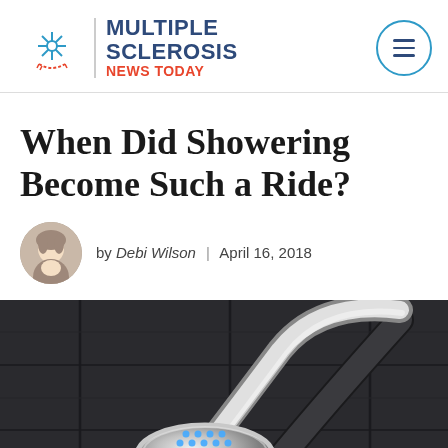Multiple Sclerosis News Today
When Did Showering Become Such a Ride?
by Debi Wilson | April 16, 2018
[Figure (photo): Close-up photo of a chrome rain shower head with blue LED lights and a curved handheld shower hose, mounted in a dark-tiled shower]